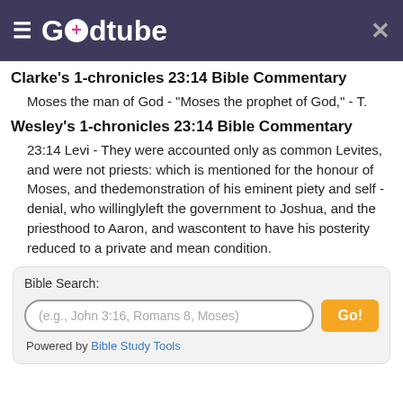Godtube
Clarke's 1-chronicles 23:14 Bible Commentary
Moses the man of God - "Moses the prophet of God," - T.
Wesley's 1-chronicles 23:14 Bible Commentary
23:14 Levi - They were accounted only as common Levites, and were not priests: which is mentioned for the honour of Moses, and thedemonstration of his eminent piety and self - denial, who willinglyleft the government to Joshua, and the priesthood to Aaron, and wascontent to have his posterity reduced to a private and mean condition.
Bible Search: (e.g., John 3:16, Romans 8, Moses) Go! Powered by Bible Study Tools